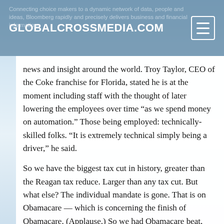GLOBALCROSSMEDIA.COM
news and insight around the world. Troy Taylor, CEO of the Coke franchise for Florida, stated he is at the moment including staff with the thought of later lowering the employees over time “as we spend money on automation.” Those being employed: technically-skilled folks. “It is extremely technical simply being a driver,” he said.
So we have the biggest tax cut in history, greater than the Reagan tax reduce. Larger than any tax cut. But what else? The individual mandate is gone. That is on Obamacare — which is concerning the finish of Obamacare. (Applause.) So we had Obamacare beat, and one senator decided to go thumbs down. You do